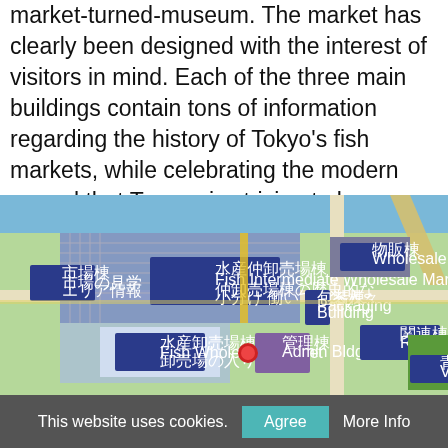market-turned-museum. The market has clearly been designed with the interest of visitors in mind. Each of the three main buildings contain tons of information regarding the history of Tokyo's fish markets, while celebrating the modern marvel that Toyosu is striving to become. You can also get multilingual interactive tours on your smartphone by scanning clearly indicated QR codes that are posted around the complex.
[Figure (map): A map of the Toyosu Market complex showing the Fish Intermediate Wholesale Market (水産仲卸売場棟), Fish Wholesale Market (水産卸売場棟), and surrounding buildings, roads, and facilities with Japanese and English labels.]
This website uses cookies.   Agree   More Info